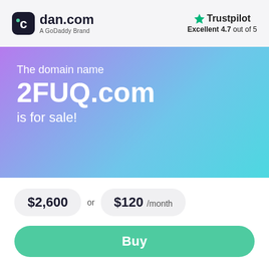[Figure (logo): dan.com logo with circular icon showing 'C' symbol and text 'dan.com', subtitle 'A GoDaddy Brand']
[Figure (logo): Trustpilot logo with green star and text 'Trustpilot', rating 'Excellent 4.7 out of 5']
The domain name
2FUQ.com
is for sale!
$2,600 or $120 /month
Buy